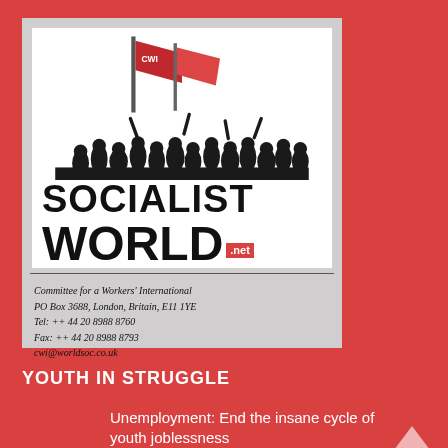[Figure (logo): Socialist World logo with crowd holding red flags, contact details for Committee for a Workers' International, PO Box 3688, London, Britain, E11 1YE, Tel: ++ 44 20 8988 8760, Fax: ++ 44 20 8988 8793, cwi@worldsoc.co.uk]
YOUTH IN STRUGGLE
Unemployment: End the insane cycle of youth joblessness
12th August 2012